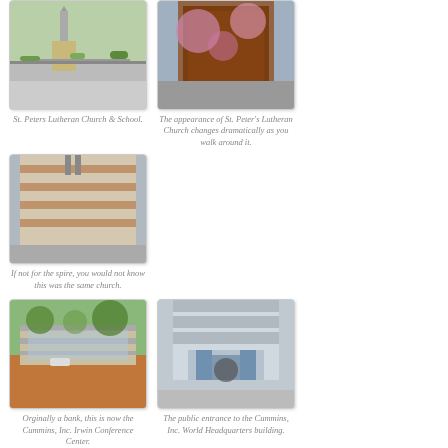[Figure (photo): St. Peters Lutheran Church & School - exterior view with trees and spire]
St. Peters Lutheran Church & School.
[Figure (photo): Side view of St. Peter's Lutheran Church with flowering trees showing dramatic change in appearance]
The appearance of St. Peter's Lutheran Church changes dramatically as you walk around it.
[Figure (photo): Another view of St. Peter's Lutheran Church showing striped wall without visible spire]
If not for the spire, you would not know this was the same church.
[Figure (photo): Cummins Inc. Irwin Conference Center - originally a bank, one-story modern building with trees]
Orginally a bank, this is now the Cummins, Inc. Irwin Conference Center.
[Figure (photo): Public entrance to the Cummins, Inc. World Headquarters building with glass facade]
The public entrance to the Cummins, Inc. World Headquarters building.
[Figure (photo): Back side of the Cummins, Inc. WHQ building with lawn and flowering trees]
The “back” side of the Cummins, Inc. WHQ building.